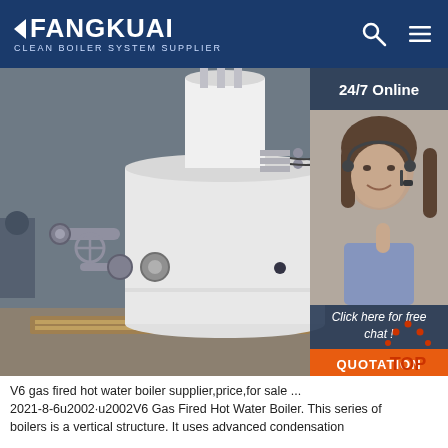FANGKUAI Clean Boiler System Supplier
[Figure (photo): Industrial gas fired hot water boiler in a warehouse/factory setting, vertical cylindrical white boiler with pipes and valves, with a 24/7 Online customer service sidebar overlay showing an agent with headset, and a QUOTATION button]
V6 gas fired hot water boiler supplier,price,for sale ... 2021-8-6u2002·u2002V6 Gas Fired Hot Water Boiler. This series of boilers is a vertical structure. It uses advanced condensation